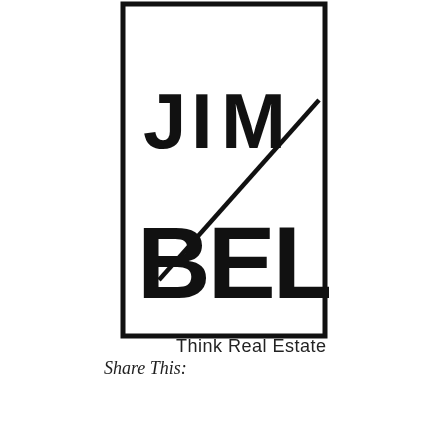[Figure (logo): Jim Bell Real Estate logo — a rectangular border containing bold letters 'JIM' on top half and 'BELL' on bottom half, with a diagonal slash line cutting across the middle of the rectangle from lower-left to upper-right.]
Think Real Estate
Share This: